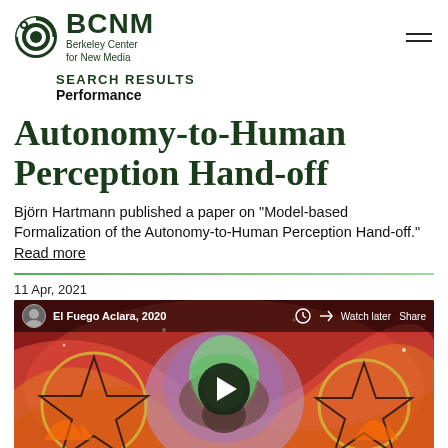BCNM Berkeley Center for New Media
SEARCH RESULTS
Performance
Autonomy-to-Human Perception Hand-off
Björn Hartmann published a paper on "Model-based Formalization of the Autonomy-to-Human Perception Hand-off." Read more
11 Apr, 2021
[Figure (screenshot): YouTube video thumbnail showing a person with a green headscarf and beard against a psychedelic red/orange swirling background with golden pentagram circles. Video title bar shows 'El Fuego Aclara, 2020'. A play button is visible in the center.]